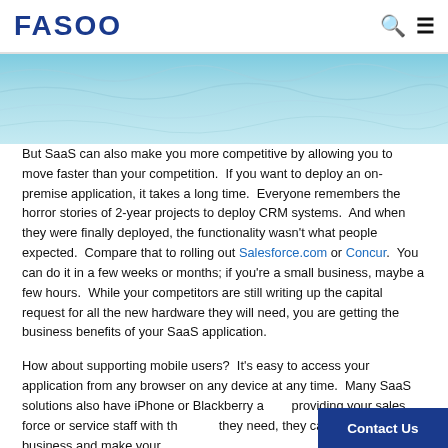FASOO
[Figure (photo): Partial ocean/water scene visible at top, teal/blue color]
But SaaS can also make you more competitive by allowing you to move faster than your competition.  If you want to deploy an on-premise application, it takes a long time.  Everyone remembers the horror stories of 2-year projects to deploy CRM systems.  And when they were finally deployed, the functionality wasn't what people expected.  Compare that to rolling out Salesforce.com or Concur.  You can do it in a few weeks or months; if you're a small business, maybe a few hours.  While your competitors are still writing up the capital request for all the new hardware they will need, you are getting the business benefits of your SaaS application.
How about supporting mobile users?  It's easy to access your application from any browser on any device at any time.  Many SaaS solutions also have iPhone or Blackberry apps, providing your sales force or service staff with the tools they need, they can close more business and make your